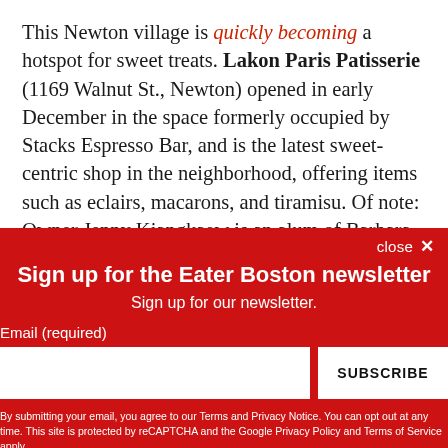This Newton village is quickly becoming a hotspot for sweet treats. Lakon Paris Patisserie (1169 Walnut St., Newton) opened in early December in the space formerly occupied by Stacks Espresso Bar, and is the latest sweet-centric shop in the neighborhood, offering items such as eclairs, macarons, and tiramisu. Of note: Owner Jenny Kiangkaew is an alum of Barbara Lynch's famed Menton.
close ×
Sign up for the Eater Boston newsletter
Sign up for our newsletter.
Email (required)
SUBSCRIBE
By submitting your email, you agree to our Terms and Privacy Notice. You can opt out at any time. This site is protected by reCAPTCHA and the Google Privacy Policy and Terms of Service apply.